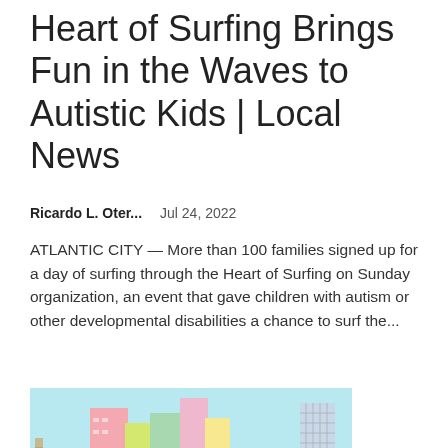Heart of Surfing Brings Fun in the Waves to Autistic Kids | Local News
Ricardo L. Oter...    Jul 24, 2022
ATLANTIC CITY — More than 100 families signed up for a day of surfing through the Heart of Surfing on Sunday organization, an event that gave children with autism or other developmental disabilities a chance to surf the...
[Figure (illustration): Illustration of a construction worker wearing a yellow hard hat and yellow jacket, pushing or pulling a large red brick triangular structure or wall in an urban cityscape setting with colorful buildings in the background.]
Imposter syndrome is actually